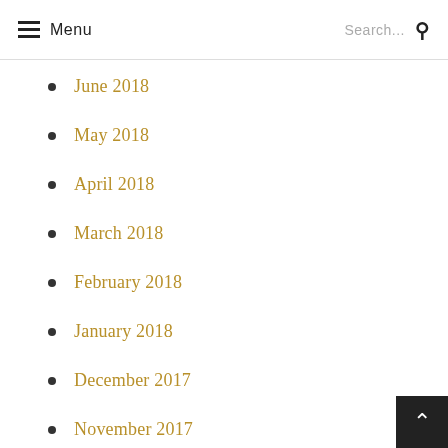Menu  Search...
June 2018
May 2018
April 2018
March 2018
February 2018
January 2018
December 2017
November 2017
October 2017
September 2017
August 2017